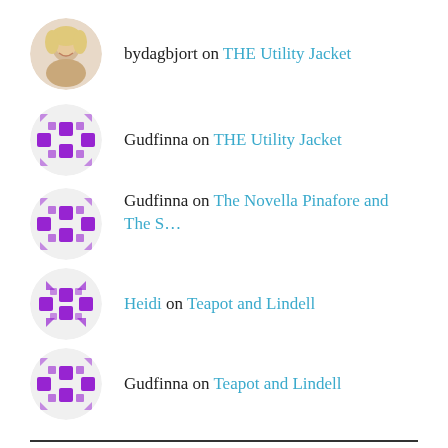bydagbjort on THE Utility Jacket
Gudfinna on THE Utility Jacket
Gudfinna on The Novella Pinafore and The S...
Heidi on Teapot and Lindell
Gudfinna on Teapot and Lindell
ARCHIVES